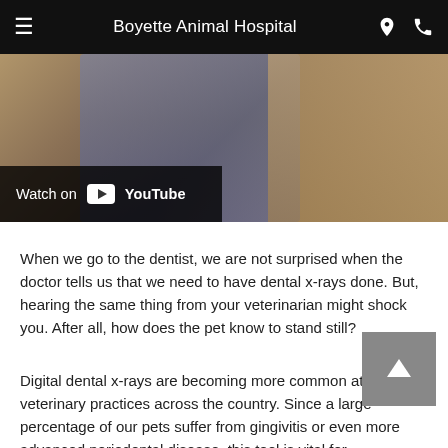Boyette Animal Hospital
[Figure (screenshot): Video thumbnail showing a person examining an animal, with a 'Watch on YouTube' overlay at the bottom left]
When we go to the dentist, we are not surprised when the doctor tells us that we need to have dental x-rays done. But, hearing the same thing from your veterinarian might shock you. After all, how does the pet know to stand still?
Digital dental x-rays are becoming more common at veterinary practices across the country. Since a large percentage of our pets suffer from gingivitis or even more advanced periodontal disease, this tool is vital for